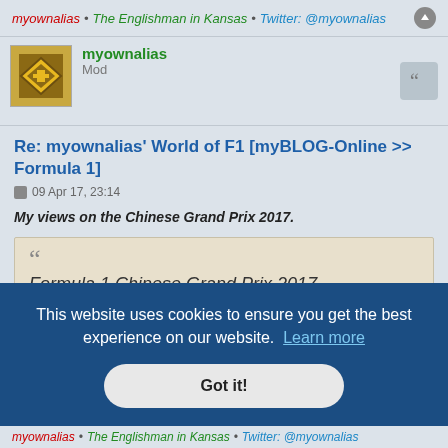myownalias • The Englishman in Kansas • Twitter: @myownalias
myownalias
Mod
Re: myownalias' World of F1 [myBLOG-Online >> Formula 1]
09 Apr 17, 23:14
My views on the Chinese Grand Prix 2017.
Formula 1 Chinese Grand Prix 2017
This website uses cookies to ensure you get the best experience on our website. Learn more
Got it!
myownalias • The Englishman in Kansas • Twitter: @myownalias